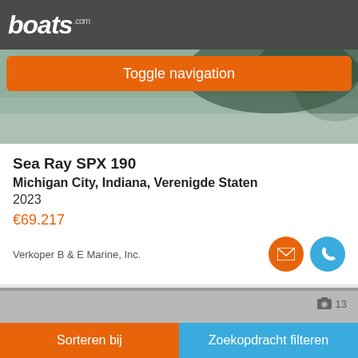boats.com
Toggle navigation
[Figure (photo): Boat on water, reflection visible, partially obscured by Toggle navigation button overlay]
Sea Ray SPX 190
Michigan City, Indiana, Verenigde Staten
2023
€69.217
Verkoper B & E Marine, Inc.
[Figure (photo): Second boat listing image placeholder, grey, with photo count 13]
Sorteren bij    Zoekopdracht filteren